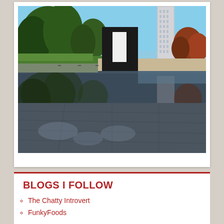[Figure (photo): Outdoor memorial site with a large black rectangular gate/arch structure reflected in a still reflecting pool. Trees in background, tall building visible, clear blue sky, autumn foliage colors.]
BLOGS I FOLLOW
The Chatty Introvert
FunkyFoods